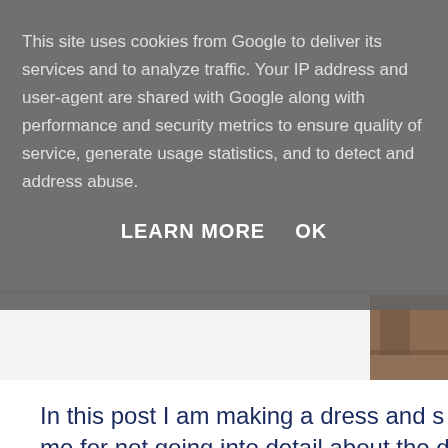This site uses cookies from Google to deliver its services and to analyze traffic. Your IP address and user-agent are shared with Google along with performance and security metrics to ensure quality of service, generate usage statistics, and to detect and address abuse.
LEARN MORE   OK
[Figure (photo): Partial photo of a person's lower body/clothing visible in the upper right corner of the page background]
In this post I am making a dress and s... me for not going into detail about the d...